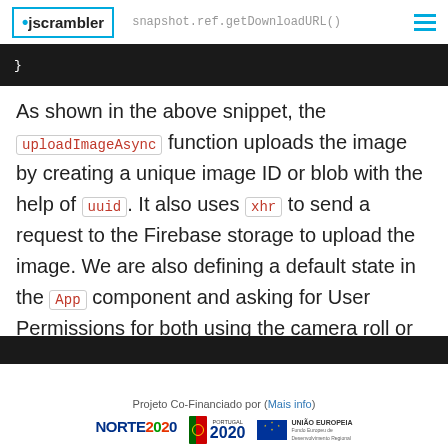jscrambler | snapshot.ref.getDownloadURL()
[Figure (screenshot): Code block showing closing brace on dark background]
As shown in the above snippet, the uploadImageAsync function uploads the image by creating a unique image ID or blob with the help of uuid. It also uses xhr to send a request to the Firebase storage to upload the image. We are also defining a default state in the App component and asking for User Permissions for both using the camera roll or gallery or take a photo from the device's camera as shown in the code snippet below.
[Figure (screenshot): Bottom code block on dark background]
Projeto Co-Financiado por (Mais info) | NORTE2020 | PORTUGAL 2020 | UNIÃO EUROPEIA